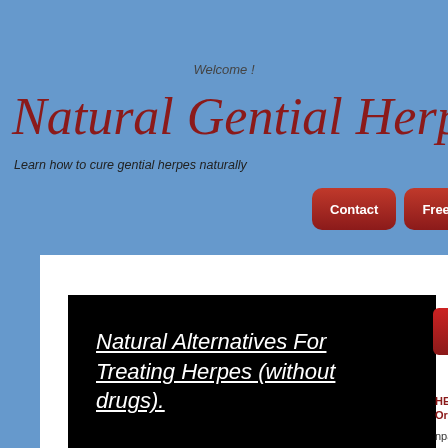Welcome !
Natural Gential Herpes Relie
Learn how to cure gential herpes naturally
Contact
Free eBook
[Figure (screenshot): Black video embed box with white italic underlined text reading 'Natural Alternatives For Treating Herpes (without drugs).']
Make Ay
HERP RESCUE 1
Oregano Oil, 120 C
nparveen100 poste